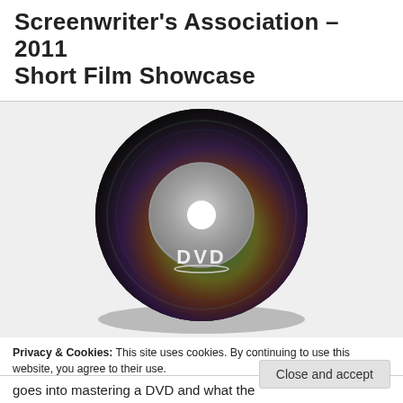Screenwriter's Association – 2011 Short Film Showcase
[Figure (illustration): A DVD disc illustration with rainbow reflection sheen, grey label area in center, and 'DVD' text at bottom, placed on a light grey background with a subtle shadow underneath.]
Privacy & Cookies: This site uses cookies. By continuing to use this website, you agree to their use.
To find out more, including how to control cookies, see here: Cookie Policy
Close and accept
goes into mastering a DVD and what the